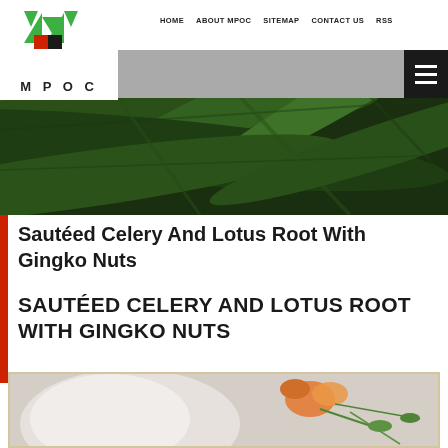[Figure (photo): MPOC logo with green arrows/triangles and red/black square, text MPOC below]
HOME   ABOUT MPOC   SITEMAP   CONTACT US   RSS
[Figure (photo): Dark green tropical palm leaves hero banner image]
Sautéed Celery And Lotus Root With Gingko Nuts
SAUTÉED CELERY AND LOTUS ROOT WITH GINGKO NUTS
[Figure (photo): Close-up food photo showing a white plate with orange flower garnish and blurred background]